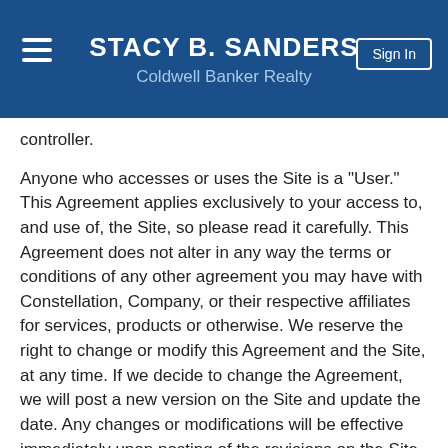STACY B. SANDERS
Coldwell Banker Realty
controller.
Anyone who accesses or uses the Site is a "User." This Agreement applies exclusively to your access to, and use of, the Site, so please read it carefully. This Agreement does not alter in any way the terms or conditions of any other agreement you may have with Constellation, Company, or their respective affiliates for services, products or otherwise. We reserve the right to change or modify this Agreement and the Site, at any time. If we decide to change the Agreement, we will post a new version on the Site and update the date. Any changes or modifications will be effective immediately upon posting of the revisions on the Site, and you waive any right you may have to receive specific notice of such changes or modifications. Your use of the Site following the posting of changes or modifications to the Agreement will constitute your acceptance of the revised Agreement. Therefore, you should frequently